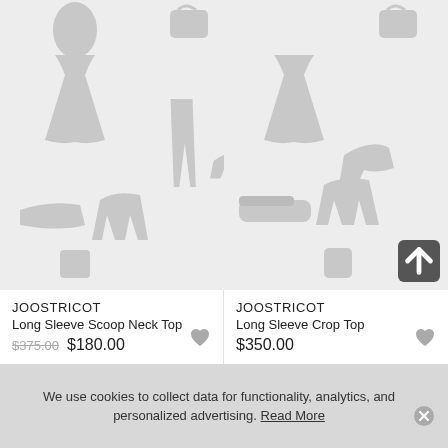[Figure (illustration): Fashion clothing silhouette placeholder image for product 1 (JOOSTRICOT Long Sleeve Scoop Neck Top) showing dress, handbag, high heels, shoes, top, pants icons on light gray background]
JOOSTRICOT
Long Sleeve Scoop Neck Top
$375.00 $180.00
[Figure (illustration): Fashion clothing silhouette placeholder image for product 2 (JOOSTRICOT Long Sleeve Crop Top) showing dress, handbag, high heels, shoes, top icons on light gray background with scroll-to-top button]
JOOSTRICOT
Long Sleeve Crop Top
$350.00
We use cookies to collect data for functionality, analytics, and personalized advertising. Read More